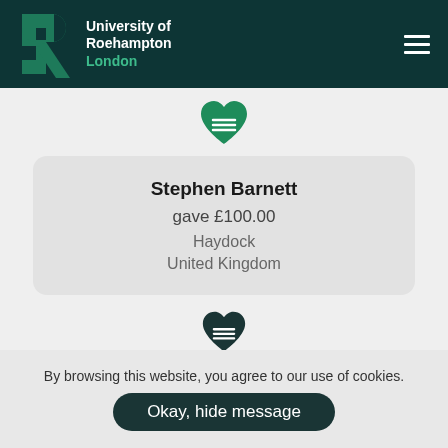University of Roehampton London
Stephen Barnett gave £100.00 Haydock United Kingdom
By browsing this website, you agree to our use of cookies.
Okay, hide message